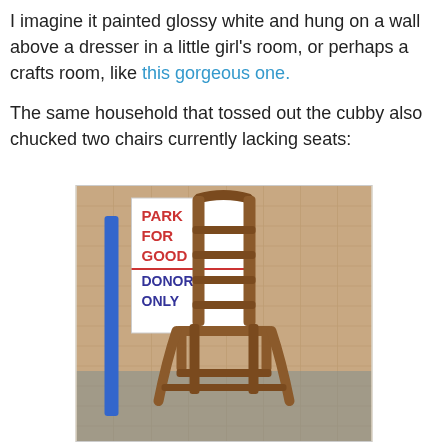I imagine it painted glossy white and hung on a wall above a dresser in a little girl's room, or perhaps a crafts room, like this gorgeous one.

The same household that tossed out the cubby also chucked two chairs currently lacking seats:
[Figure (photo): A wooden chair frame without a seat, photographed outdoors against a brick wall. A white sign partially visible behind the chair reads 'PARK FOR GOOD DONORS ONLY'. A blue pole is visible to the left.]